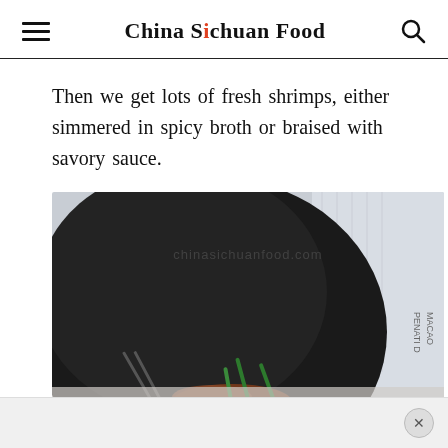China Sichuan Food
Then we get lots of fresh shrimps, either simmered in spicy broth or braised with savory sauce.
[Figure (photo): A dark cast iron pan viewed from above containing shrimp with green onion pieces, placed on a newspaper background. Watermark text reads chinasichuanfood.com]